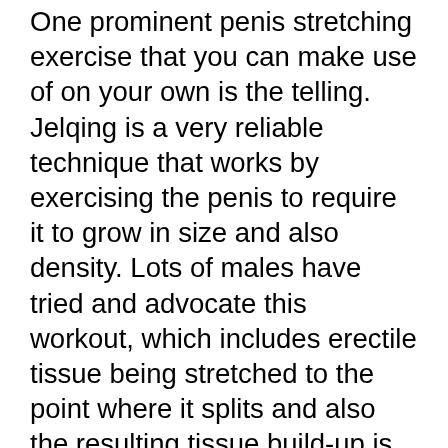One prominent penis stretching exercise that you can make use of on your own is the telling. Jelqing is a very reliable technique that works by exercising the penis to require it to grow in size and also density. Lots of males have tried and advocate this workout, which includes erectile tissue being stretched to the point where it splits and also the resulting tissue build-up is utilized to assist tone the body organ. If you wish to experience far better cause the bed room, ensure to adhere to this straightforward penis enlargement workout regimen.
A penis extension is a technique of adding length to your penis that involves using an extender (a.k.a. cock ring, extender brace, or traction tool) held in between your legs and